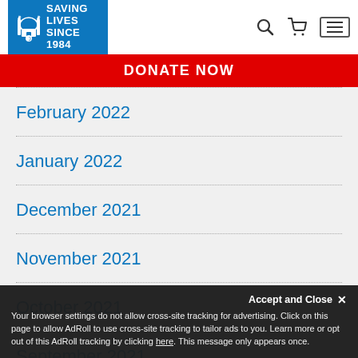Islamic Relief — SAVING LIVES SINCE 1984
DONATE NOW
February 2022
January 2022
December 2021
November 2021
October 2021
September 2021
August 2021
Accept and Close ✕ Your browser settings do not allow cross-site tracking for advertising. Click on this page to allow AdRoll to use cross-site tracking to tailor ads to you. Learn more or opt out of this AdRoll tracking by clicking here. This message only appears once.